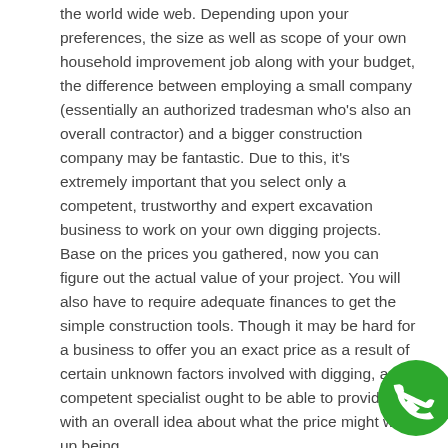the world wide web. Depending upon your preferences, the size as well as scope of your own household improvement job along with your budget, the difference between employing a small company (essentially an authorized tradesman who's also an overall contractor) and a bigger construction company may be fantastic. Due to this, it's extremely important that you select only a competent, trustworthy and expert excavation business to work on your own digging projects. Base on the prices you gathered, now you can figure out the actual value of your project. You will also have to require adequate finances to get the simple construction tools. Though it may be hard for a business to offer you an exact price as a result of certain unknown factors involved with digging, any competent specialist ought to be able to provide you with an overall idea about what the price might wind up being.
The smallest architectural change can get a substantial on plumbing design. In different regions of the house plumbing is an important part, additionally, there are
[Figure (illustration): Green circular phone/call icon with white telephone handset symbol]